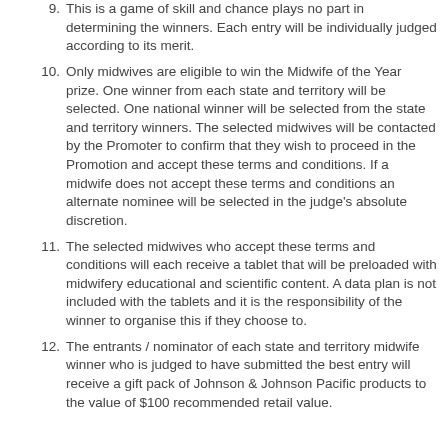9. This is a game of skill and chance plays no part in determining the winners. Each entry will be individually judged according to its merit.
10. Only midwives are eligible to win the Midwife of the Year prize. One winner from each state and territory will be selected. One national winner will be selected from the state and territory winners. The selected midwives will be contacted by the Promoter to confirm that they wish to proceed in the Promotion and accept these terms and conditions. If a midwife does not accept these terms and conditions an alternate nominee will be selected in the judge's absolute discretion.
11. The selected midwives who accept these terms and conditions will each receive a tablet that will be preloaded with midwifery educational and scientific content. A data plan is not included with the tablets and it is the responsibility of the winner to organise this if they choose to.
12. The entrants / nominator of each state and territory midwife winner who is judged to have submitted the best entry will receive a gift pack of Johnson & Johnson Pacific products to the value of $100 recommended retail value.